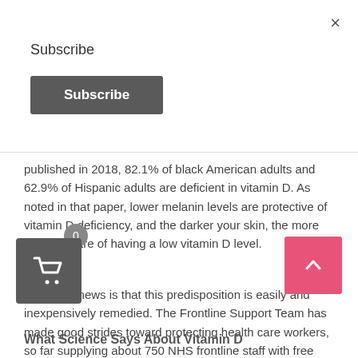×
Subscribe
[Figure (other): Subscribe button — dark grey rounded rectangle]
published in 2018, 82.1% of black American adults and 62.9% of Hispanic adults are deficient in vitamin D. As noted in that paper, lower melanin levels are protective of vitamin D deficiency, and the darker your skin, the more likely you are of having a low vitamin D level.
The good news is that this predisposition is easily and inexpensively remedied. The Frontline Support Team has made good strides toward protecting health care workers, so far supplying about 750 NHS frontline staff with free supplement packs. But the general public also needs it, too. At bare minimum, the public needs the information.
[Figure (other): Pink scroll-to-top button with upward chevron arrow]
[Figure (other): Dark grey shopping cart button with badge showing 0]
What Science Says About Vitamin D